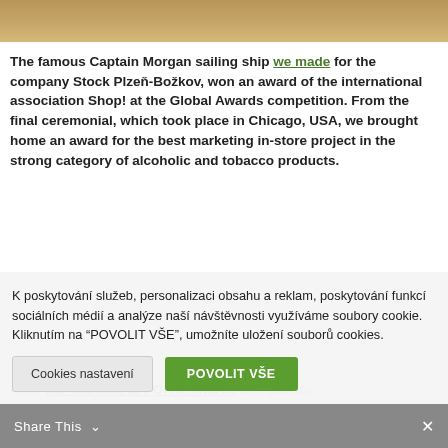[Figure (photo): Top portion of a Captain Morgan sailing ship display, brown/wooden tones visible at top of page]
The famous Captain Morgan sailing ship we made for the company Stock Plzeň-Božkov, won an award of the international association Shop! at the Global Awards competition. From the final ceremonial, which took place in Chicago, USA, we brought home an award for the best marketing in-store project in the strong category of alcoholic and tobacco products.
After our success at POPAI Awards this palette
K poskytování služeb, personalizaci obsahu a reklam, poskytování funkcí sociálních médií a analýze naší návštěvnosti využíváme soubory cookie. Kliknutím na "POVOLIT VŠE", umožníte uložení souborů cookies.
Cookies nastavení
POVOLIT VŠE
Share This ∨  ✕